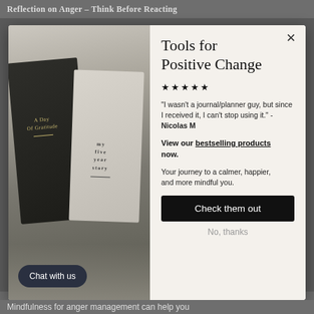Reflection on Anger – Think Before Reacting
[Figure (photo): Two journals/planners on a bed with white/grey linens. Left journal is dark navy/black with gold text 'A Day Of Gratitude'. Right journal is light grey/beige with text 'my five year story'.]
Tools for Positive Change
★★★★★
"I wasn't a journal/planner guy, but since I received it, I can't stop using it." - Nicolas M
View our bestselling products now.
Your journey to a calmer, happier, and more mindful you.
Check them out
No, thanks
Chat with us
Mindfulness for anger management can help you